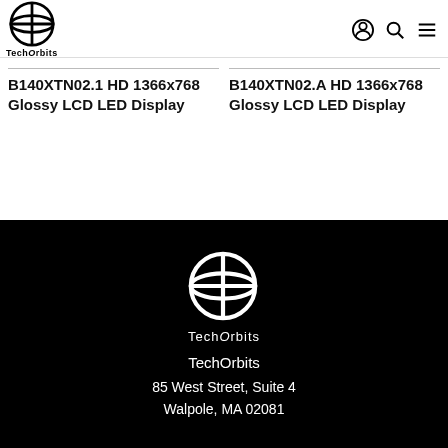TechOrbits
B140XTN02.1 HD 1366x768 Glossy LCD LED Display
B140XTN02.A HD 1366x768 Glossy LCD LED Display
[Figure (logo): TechOrbits logo white on black with brand name and address: 85 West Street, Suite 4, Walpole, MA 02081]
TechOrbits
85 West Street, Suite 4
Walpole, MA 02081